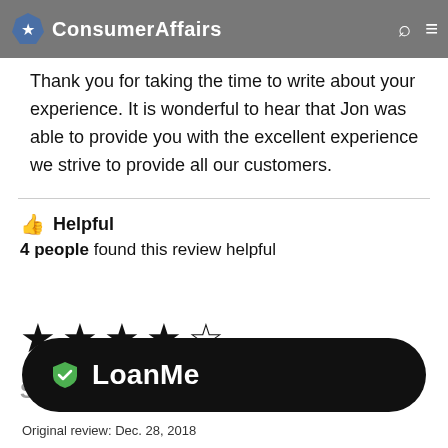ConsumerAffairs
Thank you for taking the time to write about your experience. It is wonderful to hear that Jon was able to provide you with the excellent experience we strive to provide all our customers.
👍 Helpful
4 people found this review helpful
[Figure (other): Five star rating icons (4 filled, 1 outline)]
[Figure (logo): LoanMe logo pill button in black rounded rectangle with green shield icon]
Original review: Dec. 28, 2018